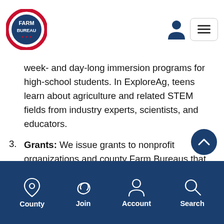Farm Bureau
week- and day-long immersion programs for high-school students. In ExploreAg, teens learn about agriculture and related STEM fields from industry experts, scientists, and educators.
Grants: We issue grants to nonprofit organizations and county Farm Bureaus that help young people embrace food, agriculture, and environmental careers, and to programs advancing agricultural education.
County  Join  Account  Search